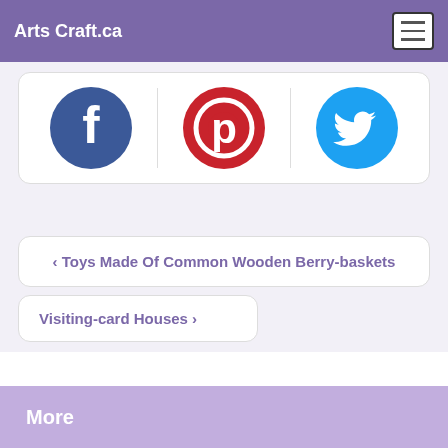Arts Craft.ca
[Figure (logo): Social media share buttons: Facebook (blue circle with f), Pinterest (red circle with p), Twitter (blue circle with bird icon)]
< Toys Made Of Common Wooden Berry-baskets
Visiting-card Houses >
More